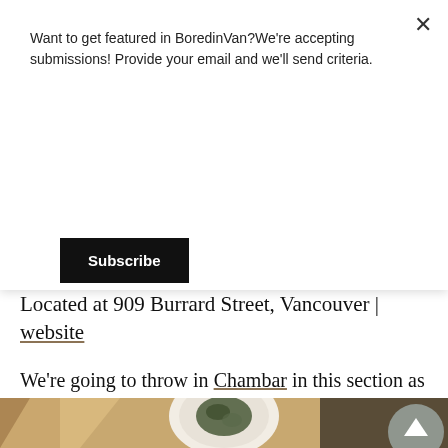Want to get featured in BoredinVan?We're accepting submissions! Provide your email and we'll send criteria.
Subscribe
p
Located at 909 Burrard Street, Vancouver | website
We're going to throw in Chambar in this section as well for their amazing Moules Frites.
[Figure (photo): Photo of a dish (likely Moules Frites) in a white bowl on a wooden table, with warm ambient lighting. A grey circular scroll-to-top button with an upward arrow is overlaid at the bottom right.]